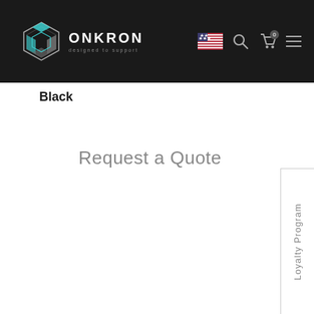ONKRON designed to support — navigation bar with logo, US flag, search, cart (0), and menu icons
Black
Request a Quote
Loyalty Program